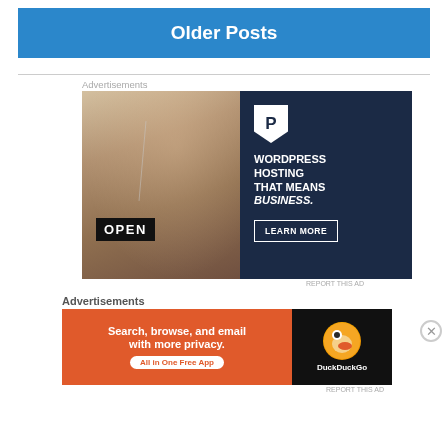Older Posts
Advertisements
[Figure (photo): Advertisement for WordPress Hosting - Pressable. Left side shows a woman smiling holding an OPEN sign. Right side has dark navy background with Pressable P logo and text: WORDPRESS HOSTING THAT MEANS BUSINESS. with a LEARN MORE button.]
Advertisements
[Figure (photo): DuckDuckGo advertisement. Orange left panel with text 'Search, browse, and email with more privacy. All in One Free App'. Dark right panel with DuckDuckGo logo and name.]